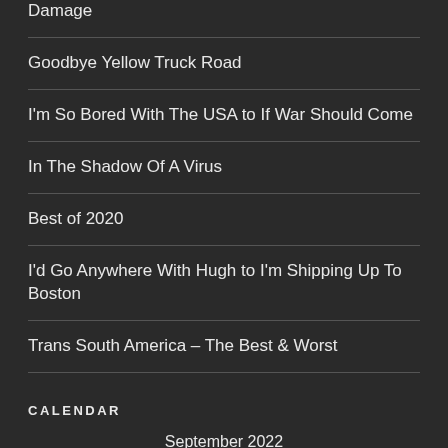Damage
Goodbye Yellow Truck Road
I'm So Bored With The USA to If War Should Come
In The Shadow Of A Virus
Best of 2020
I'd Go Anywhere With Hugh to I'm Shipping Up To Boston
Trans South America – The Best & Worst
CALENDAR
| M | T | W | T | F | S | S |
| --- | --- | --- | --- | --- | --- | --- |